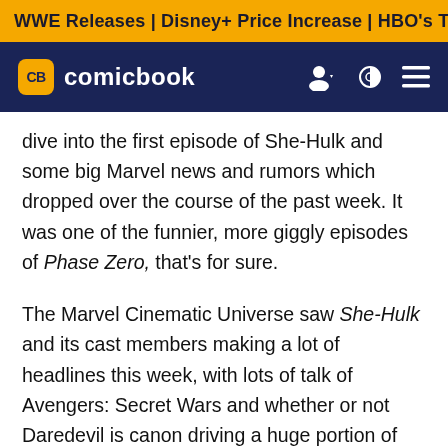WWE Releases | Disney+ Price Increase | HBO's The Last of Us
[Figure (logo): ComicBook.com logo with CB badge in yellow on dark navy navigation bar]
dive into the first episode of She-Hulk and some big Marvel news and rumors which dropped over the course of the past week. It was one of the funnier, more giggly episodes of Phase Zero, that's for sure.
The Marvel Cinematic Universe saw She-Hulk and its cast members making a lot of headlines this week, with lots of talk of Avengers: Secret Wars and whether or not Daredevil is canon driving a huge portion of the conversation. However, a tiny hint of an update in regards to Armor Wars, concept art for Thor: Love and Thunder, and more rounded